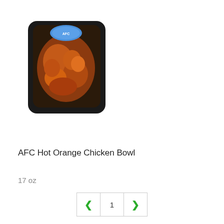[Figure (photo): Product photo of AFC Hot Orange Chicken Bowl in a black plastic tray with a blue label, viewed from above.]
AFC Hot Orange Chicken Bowl
17 oz
< 1 >
AFC Prepared Chicken Tenders Near Me
Buy your favorite AFC Prepared Chicken Tenders online